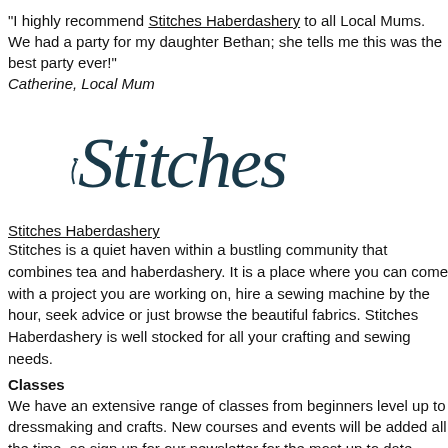"I highly recommend Stitches Haberdashery to all Local Mums. We had a party for my daughter Bethan; she tells me this was the best party ever!"
Catherine, Local Mum
[Figure (logo): Stitches cursive script logo in dark teal/navy color]
Stitches Haberdashery
Stitches is a quiet haven within a bustling community that combines tea and haberdashery. It is a place where you can come with a project you are working on, hire a sewing machine by the hour, seek advice or just browse the beautiful fabrics. Stitches Haberdashery is well stocked for all your crafting and sewing needs.
Classes
We have an extensive range of classes from beginners level up to dressmaking and crafts. New courses and events will be added all the time, so sign up for our newsletter for the most up to date booking information.
Parties